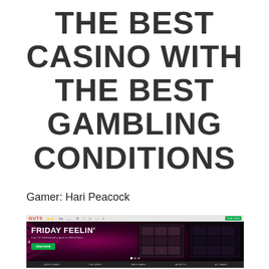THE BEST CASINO WITH THE BEST GAMBLING CONDITIONS
Gamer: Hari Peacock
[Figure (screenshot): Screenshot of the Guts casino website showing a 'Friday Feelin'' promotional banner with pink/magenta lighting effects, slot machine game images on the right, a green 'Read More' button, navigation arrow, and the casino website browser interface.]